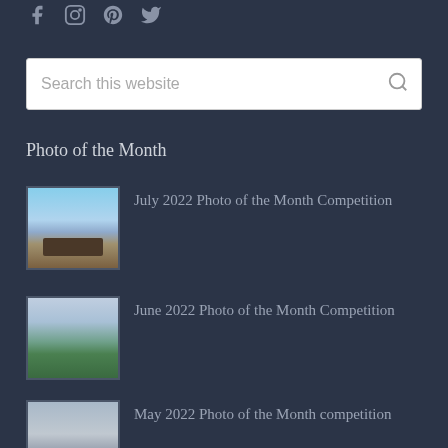[Figure (illustration): Social media icons row: Facebook, Instagram, Pinterest, Twitter]
Search this website
Photo of the Month
July 2022 Photo of the Month Competition
June 2022 Photo of the Month Competition
May 2022 Photo of the Month competition